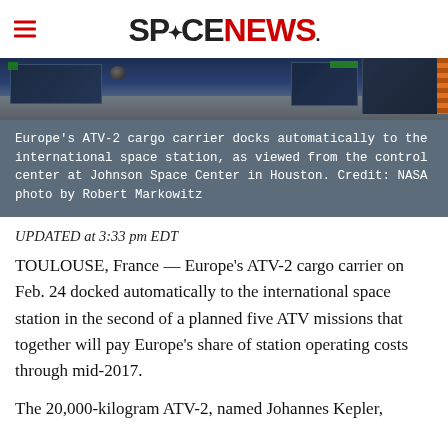SPACENEWS
[Figure (photo): Control room at Johnson Space Center showing computer monitors and equipment on desks, dim blue lighting, with screens displaying data related to ATV-2 docking.]
Europe's ATV-2 cargo carrier docks automatically to the international space station, as viewed from the control center at Johnson Space Center in Houston. Credit: NASA photo by Robert Markowitz
UPDATED at 3:33 pm EDT
TOULOUSE, France — Europe's ATV-2 cargo carrier on Feb. 24 docked automatically to the international space station in the second of a planned five ATV missions that together will pay Europe's share of station operating costs through mid-2017.
The 20,000-kilogram ATV-2, named Johannes Kepler,